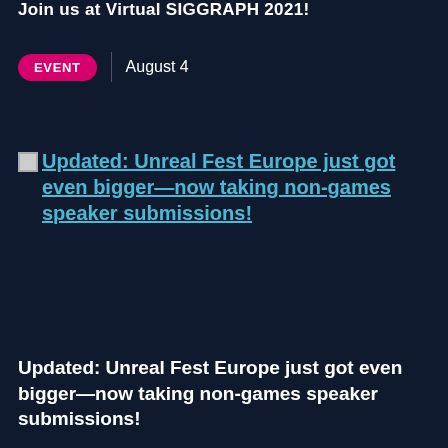Join us at Virtual SIGGRAPH 2021!
EVENT | August 4
[Figure (illustration): Broken image icon followed by linked article title text: Updated: Unreal Fest Europe just got even bigger—now taking non-games speaker submissions!]
Updated: Unreal Fest Europe just got even bigger—now taking non-games speaker submissions!